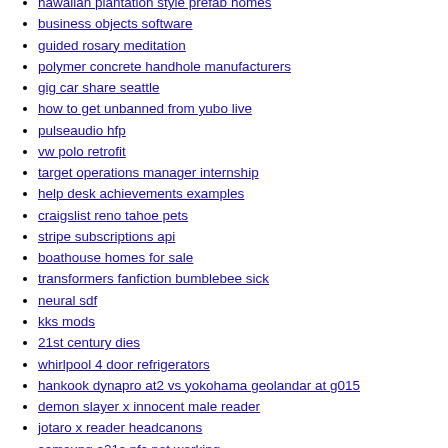hawaiian plantation style prefab homes
business objects software
guided rosary meditation
polymer concrete handhole manufacturers
gig car share seattle
how to get unbanned from yubo live
pulseaudio hfp
vw polo retrofit
target operations manager internship
help desk achievements examples
craigslist reno tahoe pets
stripe subscriptions api
boathouse homes for sale
transformers fanfiction bumblebee sick
neural sdf
kks mods
21st century dies
whirlpool 4 door refrigerators
hankook dynapro at2 vs yokohama geolandar at g015
demon slayer x innocent male reader
jotaro x reader headcanons
samsung a21s nfc not working
deuce and a half truck for sale
parallel circuit amp calculator
gpo emotes free